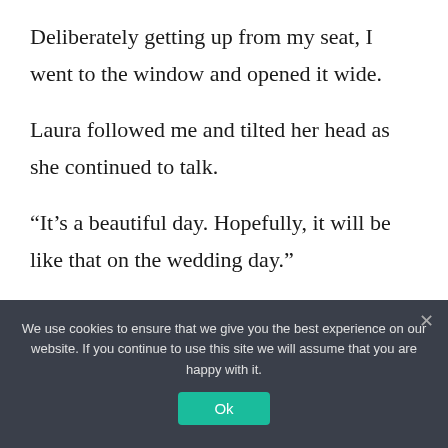Deliberately getting up from my seat, I went to the window and opened it wide.
Laura followed me and tilted her head as she continued to talk.
“It’s a beautiful day. Hopefully, it will be like that on the wedding day.”
“Yes.”
We use cookies to ensure that we give you the best experience on our website. If you continue to use this site we will assume that you are happy with it.